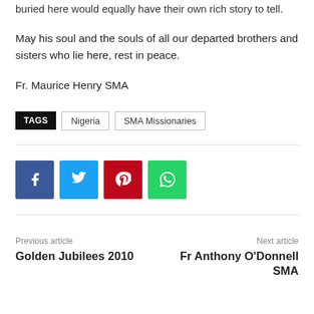buried here would equally have their own rich story to tell.
May his soul and the souls of all our departed brothers and sisters who lie here, rest in peace.
Fr. Maurice Henry SMA
TAGS   Nigeria   SMA Missionaries
[Figure (other): Social share buttons: Facebook, Twitter, Pinterest, WhatsApp]
Previous article
Golden Jubilees 2010
Next article
Fr Anthony O'Donnell SMA